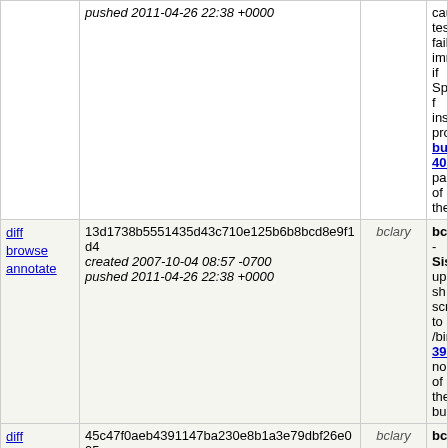|  | Hash/Date | Author | Description |
| --- | --- | --- | --- |
|  | pushed 2011-04-26 22:38 +0000 |  | cause test fail imme if Spider f install pro bug 40743 part of the |
| diff
browse
annotate | 13d1738b5551435d43c710e125b6b8bcd8e9f1d4
created 2007-10-04 08:57 -0700
pushed 2011-04-26 22:38 +0000 | bclary | bclary - Sisyphus update sh scripts to /bin/bash, 397921, no of the buil |
| diff
browse
annotate | 45c47f0aeb4391147ba230e8b1a3e79dbf26e095
created 2007-09-28 08:31 -0700
pushed 2011-04-26 22:38 +0000 | bclary | bclary - Sisyphus 386992, no of the buil |
| diff
browse
annotate | 59a1ddbcc1ed0bf9ff04a37f4d7eb676665d5e82
created 2007-07-12 10:09 -0700
pushed 2011-04-26 22:38 +0000 | bclary | bclary - Sisyphus updates - 386992, no of the buil |
| diff
browse
annotate | b2906a284c26b5c4af9fff522434450d2323fad1
created 2007-07-05 09:36 -0700
pushed 2011-04-26 22:38 +0000 | bclary | bclary - Sisyphus support buildbot, j automation work in progress. 386992, no of the buil |